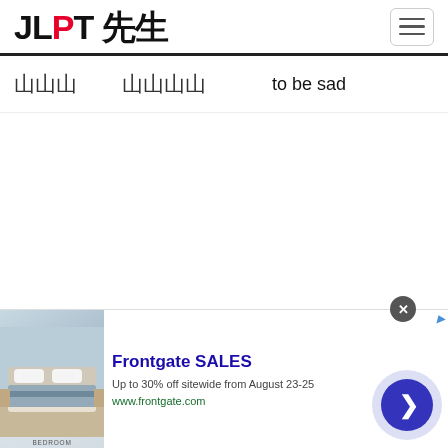JLPT 先生
悲 悲しい to be sad
[Figure (screenshot): Advertisement banner for Frontgate SALES showing bedroom furniture image, text 'Frontgate SALES', 'Up to 30% off sitewide from August 23-25', 'www.frontgate.com', with a blue arrow button and close button]